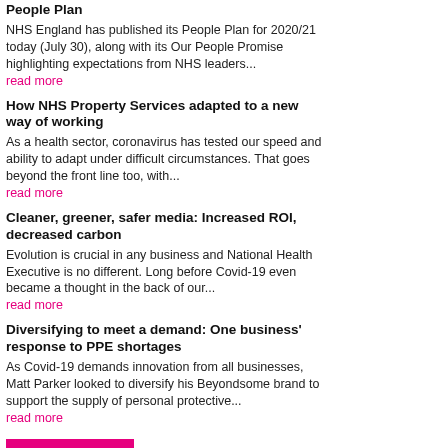People Plan
NHS England has published its People Plan for 2020/21 today (July 30), along with its Our People Promise highlighting expectations from NHS leaders...
read more
How NHS Property Services adapted to a new way of working
As a health sector, coronavirus has tested our speed and ability to adapt under difficult circumstances. That goes beyond the front line too, with...
read more
Cleaner, greener, safer media: Increased ROI, decreased carbon
Evolution is crucial in any business and National Health Executive is no different. Long before Covid-19 even became a thought in the back of our...
read more
Diversifying to meet a demand: One business' response to PPE shortages
As Covid-19 demands innovation from all businesses, Matt Parker looked to diversify his Beyondsome brand to support the supply of personal protective...
read more
more articles >